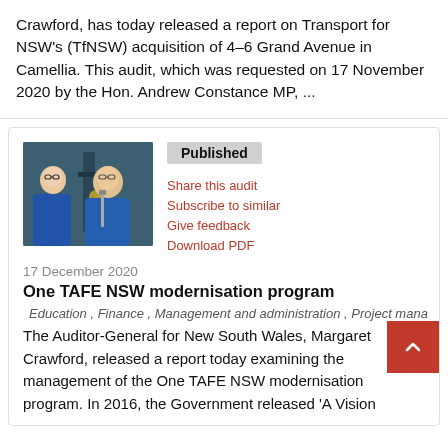Crawford, has today released a report on Transport for NSW's (TfNSW) acquisition of 4–6 Grand Avenue in Camellia. This audit, which was requested on 17 November 2020 by the Hon. Andrew Constance MP, ...
[Figure (photo): Two people in blue lab coats working with laboratory or industrial equipment]
Published
Share this audit
Subscribe to similar
Give feedback
Download PDF
17 December 2020
One TAFE NSW modernisation program
Education , Finance , Management and administration , Project mana...
The Auditor-General for New South Wales, Margaret Crawford, released a report today examining the management of the One TAFE NSW modernisation program. In 2016, the Government released 'A Vision